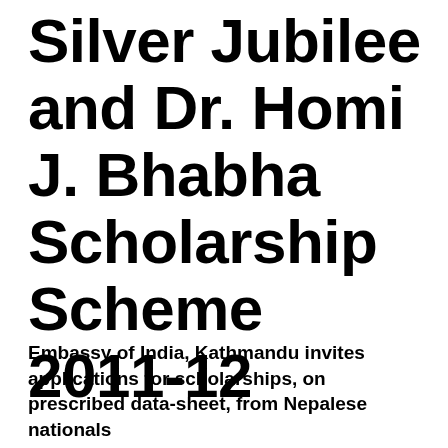Silver Jubilee and Dr. Homi J. Bhabha Scholarship Scheme 2011-12
Embassy of India, Kathmandu invites applications for scholarships, on prescribed data-sheet, from Nepalese nationals